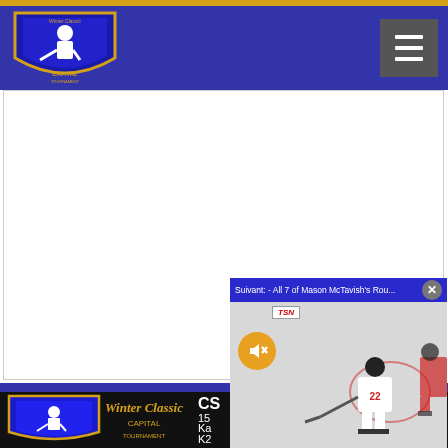[Figure (logo): Capital Winter Classic Tournament logo - hockey player silhouette with blue shield and gold text]
[Figure (screenshot): Navigation hamburger menu button (three horizontal lines) on dark gray background]
[Figure (screenshot): White advertisement placeholder area]
[Figure (logo): Capital Winter Classic Tournament logo repeated in bottom dark section]
CS
15
Ka
K2
[Figure (screenshot): TSN video player overlay showing hockey player on ice in Canada jersey number 22, with mute button and close button. Top bar reads: Suivant: - All 7 of Mason McTavish's Rou...]